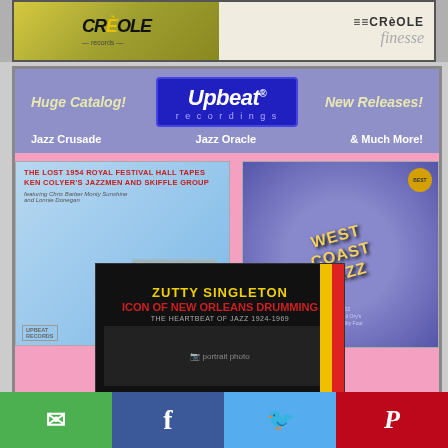[Figure (photo): Creole records banner showing two album covers side by side - left side with yellow/dark background and 'CReOLE' text, right side with white background showing 'CReOLE finesse' text with line art illustration]
[Figure (infographic): Upbeat Recordings advertisement with purple/lavender header showing 'Huge Catalog!', 'Upbeat recordings' logo in blue box, 'New Releases!' and subtext 'Jazz Crusade', 'Jazz Oracle', '& Much More!' on pink background with album covers: Ken Colyer's Jazzmen, West Coast Jazz, and Zutty Singleton 'Icon of New Orleans Drumming']
[Figure (infographic): Social media sharing bar with email (green), Facebook (blue), Twitter (light blue), and Pinterest (red) buttons at bottom of page]